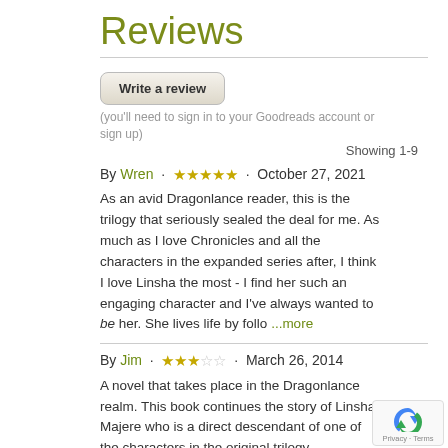Reviews
Write a review
(you'll need to sign in to your Goodreads account or sign up)
Showing 1-9
By Wren · ★★★★★ · October 27, 2021
As an avid Dragonlance reader, this is the trilogy that seriously sealed the deal for me. As much as I love Chronicles and all the characters in the expanded series after, I think I love Linsha the most - I find her such an engaging character and I've always wanted to be her. She lives life by follo ...more
By Jim · ★★★☆☆ · March 26, 2014
A novel that takes place in the Dragonlance realm. This book continues the story of Linsha Majere who is a direct descendant of one of the characters in the original trilogy.